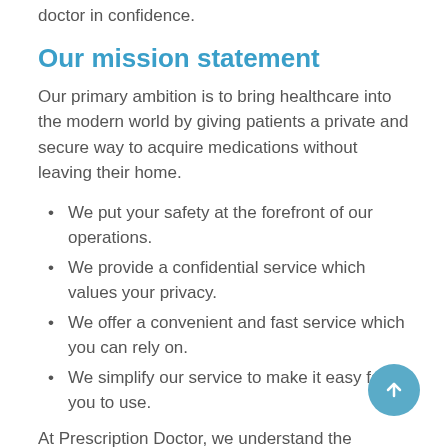doctor in confidence.
Our mission statement
Our primary ambition is to bring healthcare into the modern world by giving patients a private and secure way to acquire medications without leaving their home.
We put your safety at the forefront of our operations.
We provide a confidential service which values your privacy.
We offer a convenient and fast service which you can rely on.
We simplify our service to make it easy for you to use.
At Prescription Doctor, we understand the